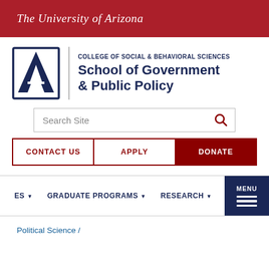The University of Arizona
[Figure (logo): University of Arizona block A logo with College of Social & Behavioral Sciences, School of Government & Public Policy wordmark]
Search Site
CONTACT US | APPLY | DONATE
ES | GRADUATE PROGRAMS | RESEARCH | MENU
Political Science /